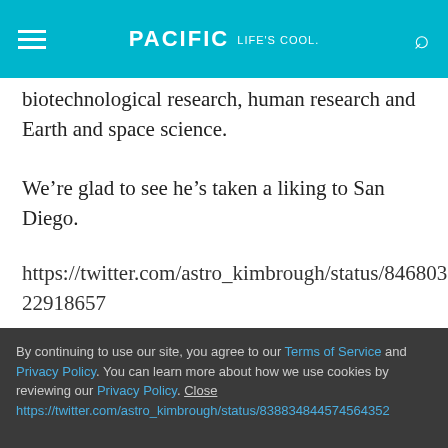PACIFIC Life's cool
biotechnological research, human research and Earth and space science.
We’re glad to see he’s taken a liking to San Diego.
https://twitter.com/astro_kimbrough/status/846803738622918657
In case you missed it the first time around. Here’s his shot from Point Loma to downtown and elsewhere.
By continuing to use our site, you agree to our Terms of Service and Privacy Policy. You can learn more about how we use cookies by reviewing our Privacy Policy. Close
https://twitter.com/astro_kimbrough/status/838834844574564352